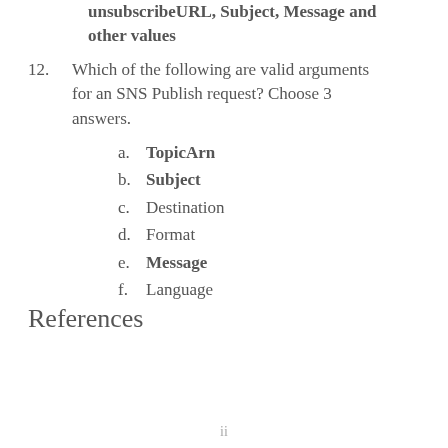unsubscribeURL, Subject, Message and other values
12. Which of the following are valid arguments for an SNS Publish request? Choose 3 answers.
a. TopicArn
b. Subject
c. Destination
d. Format
e. Message
f. Language
References